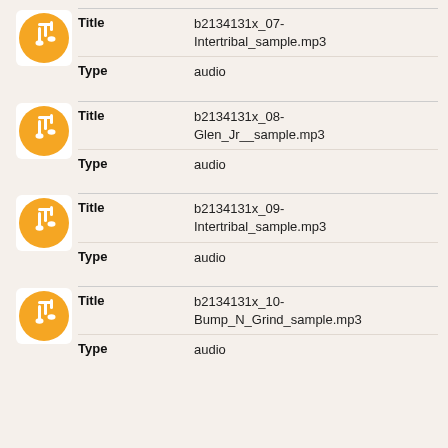[Figure (illustration): Orange circle music note icon]
| Title | b2134131x_07-Intertribal_sample.mp3 |
| Type | audio |
[Figure (illustration): Orange circle music note icon]
| Title | b2134131x_08-Glen_Jr__sample.mp3 |
| Type | audio |
[Figure (illustration): Orange circle music note icon]
| Title | b2134131x_09-Intertribal_sample.mp3 |
| Type | audio |
[Figure (illustration): Orange circle music note icon]
| Title | b2134131x_10-Bump_N_Grind_sample.mp3 |
| Type | audio |